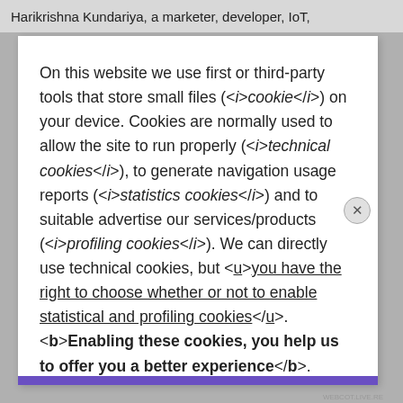Harikrishna Kundariya, a marketer, developer, IoT,
On this website we use first or third-party tools that store small files (<i>cookie</i>) on your device. Cookies are normally used to allow the site to run properly (<i>technical cookies</i>), to generate navigation usage reports (<i>statistics cookies</i>) and to suitable advertise our services/products (<i>profiling cookies</i>). We can directly use technical cookies, but <u>you have the right to choose whether or not to enable statistical and profiling cookies</u>. <b>Enabling these cookies, you help us to offer you a better experience</b>.